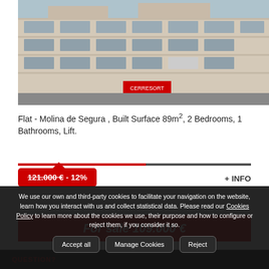[Figure (photo): Exterior photograph of a multi-story building in Molina de Segura, showing a commercial/residential block with beige facade and balconies]
Flat - Molina de Segura , Built Surface 89m², 2 Bedrooms, 1 Bathrooms, Lift.
121.000 € - 12%
+ INFO
For sale 109.000 €
We use our own and third-party cookies to facilitate your navigation on the website, learn how you interact with us and collect statistical data. Please read our Cookies Policy to learn more about the cookies we use, their purpose and how to configure or reject them, if you consider it so.
QUESTION?